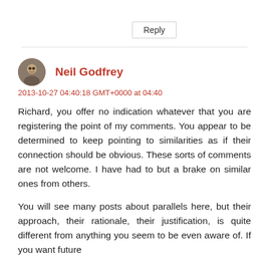Reply
Neil Godfrey
2013-10-27 04:40:18 GMT+0000 at 04:40
Richard, you offer no indication whatever that you are registering the point of my comments. You appear to be determined to keep pointing to similarities as if their connection should be obvious. These sorts of comments are not welcome. I have had to but a brake on similar ones from others.
You will see many posts about parallels here, but their approach, their rationale, their justification, is quite different from anything you seem to be even aware of. If you want future